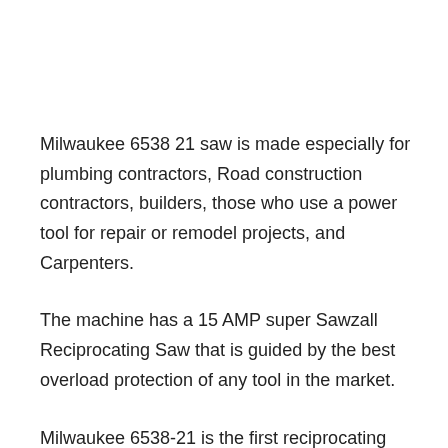Milwaukee 6538 21 saw is made especially for plumbing contractors, Road construction contractors, builders, those who use a power tool for repair or remodel projects, and Carpenters.
The machine has a 15 AMP super Sawzall Reciprocating Saw that is guided by the best overload protection of any tool in the market.
Milwaukee 6538-21 is the first reciprocating saw designed by Milwaukee that features a constant power technology.